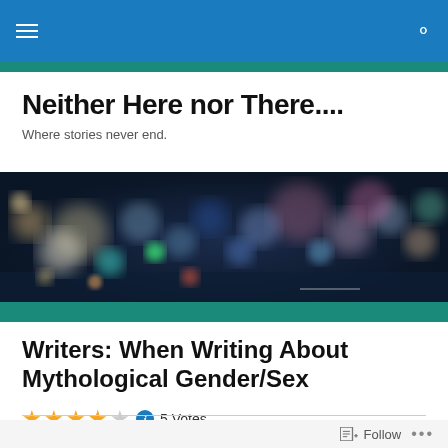Neither Here nor There.... — navigation bar
Neither Here nor There....
Where stories never end.
[Figure (photo): Bokeh city lights photo — blurred colorful circles of light against a dark blue night sky background, resembling an urban nighttime cityscape]
Writers: When Writing About Mythological Gender/Sex
5 Votes
Follow